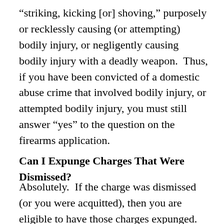“striking, kicking [or] shoving,” purposely or recklessly causing (or attempting) bodily injury, or negligently causing bodily injury with a deadly weapon.  Thus, if you have been convicted of a domestic abuse crime that involved bodily injury, or attempted bodily injury, you must still answer “yes” to the question on the firearms application.
Can I Expunge Charges That Were Dismissed?
Absolutely.  If the charge was dismissed (or you were acquitted), then you are eligible to have those charges expunged.  While there is a filing fee to file a petition to expunge convictions, there is no filing fee for petitions to expunge